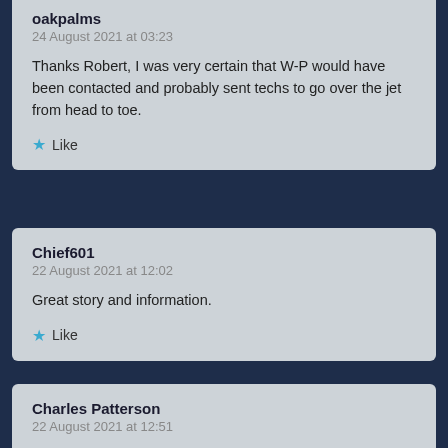oakpalms
24 August 2021 at 03:23
Thanks Robert, I was very certain that W-P would have been contacted and probably sent techs to go over the jet from head to toe.
★ Like
Chief601
22 August 2021 at 12:02
Great story and information.
★ Like
Charles Patterson
22 August 2021 at 12:51